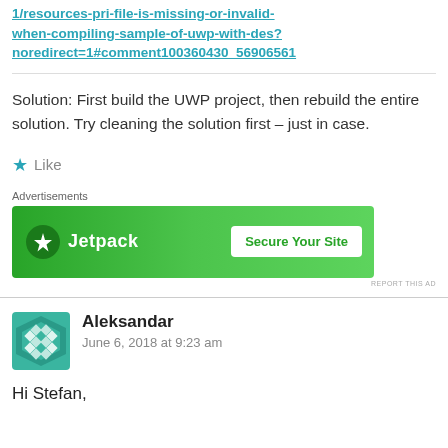1/resources-pri-file-is-missing-or-invalid-when-compiling-sample-of-uwp-with-des?noredirect=1#comment100360430_56906561
Solution: First build the UWP project, then rebuild the entire solution. Try cleaning the solution first – just in case.
Like
[Figure (screenshot): Jetpack advertisement banner with green background showing Jetpack logo and 'Secure Your Site' button]
Aleksandar
June 6, 2018 at 9:23 am
Hi Stefan,